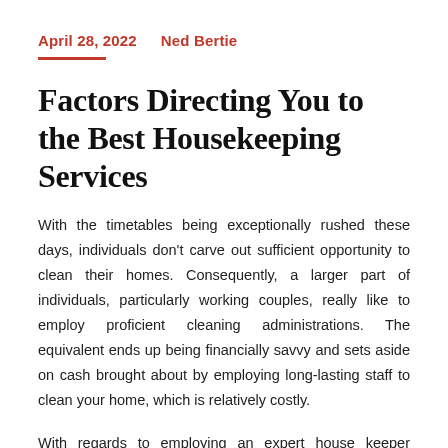April 28, 2022    Ned Bertie
Factors Directing You to the Best Housekeeping Services
With the timetables being exceptionally rushed these days, individuals don't carve out sufficient opportunity to clean their homes. Consequently, a larger part of individuals, particularly working couples, really like to employ proficient cleaning administrations. The equivalent ends up being financially savvy and sets aside on cash brought about by employing long-lasting staff to clean your home, which is relatively costly.
With regards to employing an expert house keeper administration, a couple of variables are required to